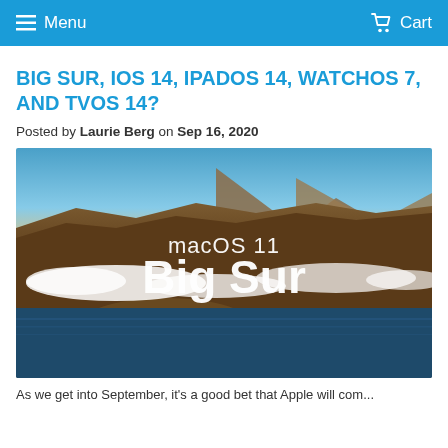Menu   Cart
BIG SUR, IOS 14, IPADOS 14, WATCHOS 7, AND TVOS 14?
Posted by Laurie Berg on Sep 16, 2020
[Figure (photo): macOS 11 Big Sur promotional image showing aerial coastal landscape with mountains, clouds, and ocean. Text overlay reads 'macOS 11 Big Sur' in white.]
As we get into September, it's a good bet that Apple will com...